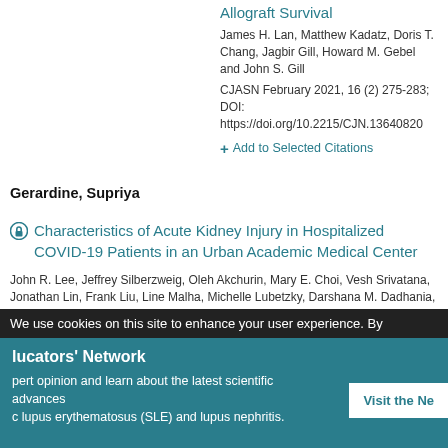Allograft Survival
James H. Lan, Matthew Kadatz, Doris T. Chang, Jagbir Gill, Howard M. Gebel and John S. Gill
CJASN February 2021, 16 (2) 275-283; DOI: https://doi.org/10.2215/CJN.13640820
+ Add to Selected Citations
Gerardine, Supriya
Characteristics of Acute Kidney Injury in Hospitalized COVID-19 Patients in an Urban Academic Medical Center
John R. Lee, Jeffrey Silberzweig, Oleh Akchurin, Mary E. Choi, Vesh Srivatana, Jonathan Lin, Frank Liu, Line Malha, Michelle Lubetzky, Darshana M. Dadhania, Divya Shankaranarayanan, Daniil Shimonov, Sanjay Neupane, Thalia Salinas, Aarti Bhasin, Elly Varma, Lorenz Leuprecht, Supriya Gerardine, Perola Lamba, Parag Goyal, Eric
We use cookies on this site to enhance your user experience. By
lucators' Network
pert opinion and learn about the latest scientific advances c lupus erythematosus (SLE) and lupus nephritis.
Visit the Ne